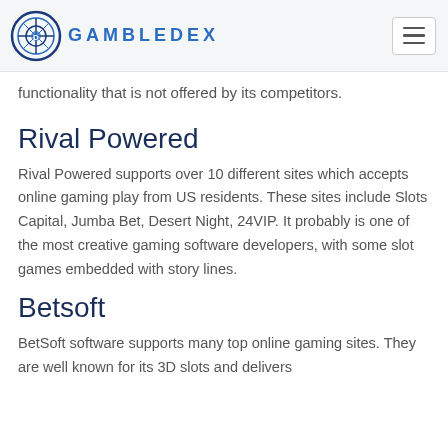GAMBLEDEX
functionality that is not offered by its competitors.
Rival Powered
Rival Powered supports over 10 different sites which accepts online gaming play from US residents. These sites include Slots Capital, Jumba Bet, Desert Night, 24VIP. It probably is one of the most creative gaming software developers, with some slot games embedded with story lines.
Betsoft
BetSoft software supports many top online gaming sites. They are well known for its 3D slots and delivers